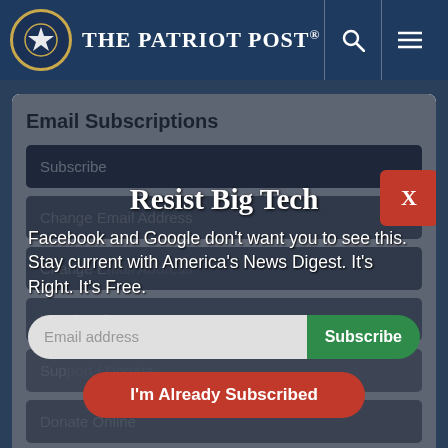THE PATRIOT POST
Email Subscriptions
Subscribe
Change Email Address
Change Email Address
Resist Big Tech
Facebook and Google don't want you to see this. Stay current with America's News Digest. It's Right. It's Free.
Email address
Subscribe
Unsubscribe
Donate Online
Donate by Mail
I'm Already Subscribed